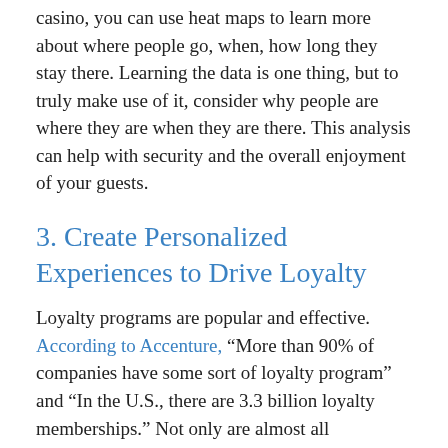casino, you can use heat maps to learn more about where people go, when, how long they stay there. Learning the data is one thing, but to truly make use of it, consider why people are where they are when they are there. This analysis can help with security and the overall enjoyment of your guests.
3. Create Personalized Experiences to Drive Loyalty
Loyalty programs are popular and effective. According to Accenture, “More than 90% of companies have some sort of loyalty program” and “In the U.S., there are 3.3 billion loyalty memberships.” Not only are almost all companies hosting these programs, people joining them. And this matters for you because “57%